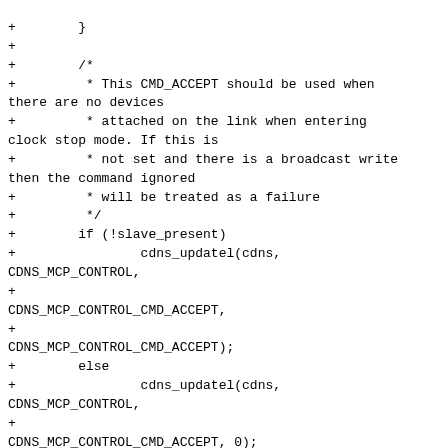Code diff showing additions to a C source file including CMD_ACCEPT logic, cdns_updatel calls, and cdns_config_update commit block.